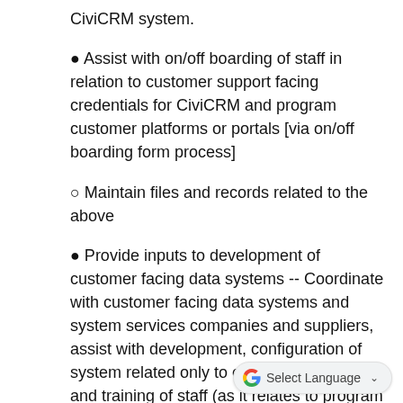CiviCRM system.
● Assist with on/off boarding of staff in relation to customer support facing credentials for CiviCRM and program customer platforms or portals [via on/off boarding form process]
○ Maintain files and records related to the above
● Provide inputs to development of customer facing data systems -- Coordinate with customer facing data systems and system services companies and suppliers, assist with development, configuration of system related only to customer support and training of staff (as it relates to program interaction with customer support)